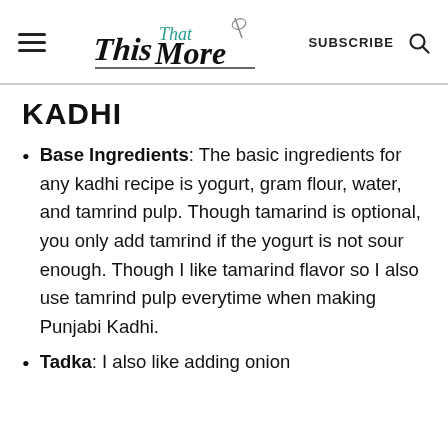This That More — SUBSCRIBE
KADHI
Base Ingredients: The basic ingredients for any kadhi recipe is yogurt, gram flour, water, and tamrind pulp. Though tamarind is optional, you only add tamrind if the yogurt is not sour enough. Though I like tamarind flavor so I also use tamrind pulp everytime when making Punjabi Kadhi.
Tadka: I also like adding onion